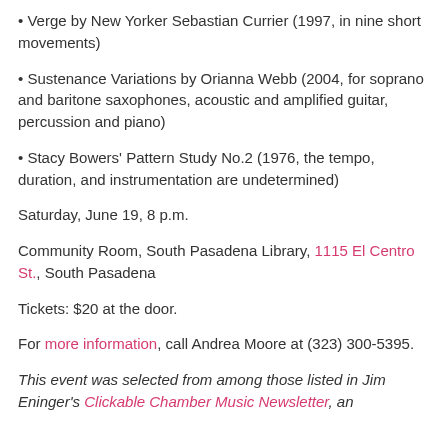• Verge by New Yorker Sebastian Currier (1997, in nine short movements)
• Sustenance Variations by Orianna Webb (2004, for soprano and baritone saxophones, acoustic and amplified guitar, percussion and piano)
• Stacy Bowers' Pattern Study No.2 (1976, the tempo, duration, and instrumentation are undetermined)
Saturday, June 19, 8 p.m.
Community Room, South Pasadena Library, 1115 El Centro St., South Pasadena
Tickets: $20 at the door.
For more information, call Andrea Moore at (323) 300-5395.
This event was selected from among those listed in Jim Eninger's Clickable Chamber Music Newsletter, an